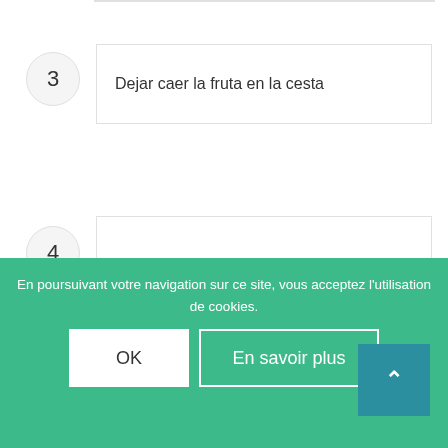3 — Dejar caer la fruta en la cesta
4 — Indicador de los movimientos restantes para jugar para terminar el juego
Jeu de puzzle
En poursuivant votre navigation sur ce site, vous acceptez l'utilisation de cookies.
OK
En savoir plus